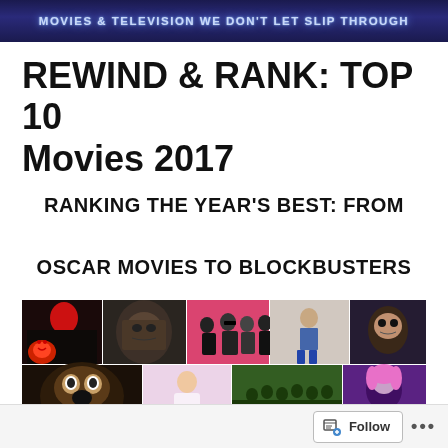MOVIES & TELEVISION WE DON'T LET SLIP THROUGH
REWIND & RANK: TOP 10 Movies 2017
RANKING THE YEAR'S BEST: FROM OSCAR MOVIES TO BLOCKBUSTERS
[Figure (photo): Collage of 2017 movie posters including IT (clown with red balloon), Logan, Baby Driver, Lady Bird, The Disaster Artist, Get Out, and other films arranged in a grid]
Follow ...